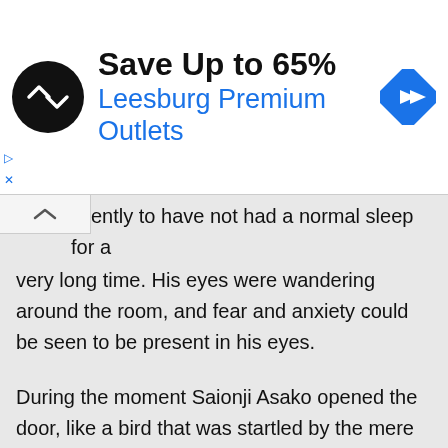[Figure (other): Advertisement banner: black circular logo with double arrow icon, text 'Save Up to 65%' in bold black, 'Leesburg Premium Outlets' in blue, blue diamond navigation icon on right. Small play and X controls on left side.]
…ently to have not had a normal sleep for a very long time. His eyes were wandering around the room, and fear and anxiety could be seen to be present in his eyes.
During the moment Saionji Asako opened the door, like a bird that was startled by the mere twang of a bow, the veins of the man's hands bulged as the man hurriedly used his hands to cover his eyes, seemingly as if he would see something frightening if he didn't cover his eyes.
“Sorry.” Upon hearing the man’s words, Saionji